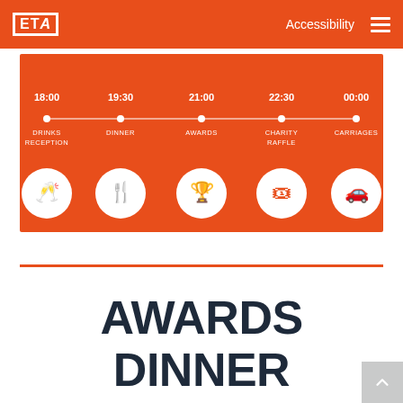ETA  Accessibility
[Figure (infographic): Event timeline on orange background showing 5 milestones: 18:00 Drinks Reception, 19:30 Dinner, 21:00 Awards, 22:30 Charity Raffle, 00:00 Carriages, each with a white circle icon below a horizontal line with dots.]
AWARDS DINNER VENUE